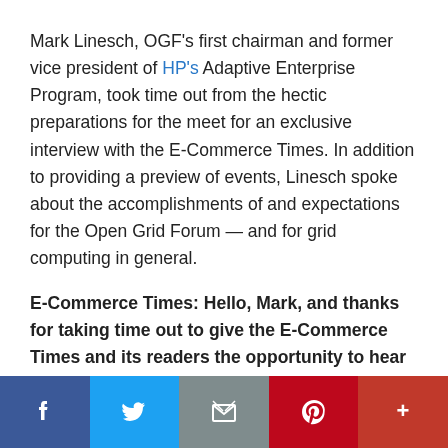Mark Linesch, OGF's first chairman and former vice president of HP's Adaptive Enterprise Program, took time out from the hectic preparations for the meet for an exclusive interview with the E-Commerce Times. In addition to providing a preview of events, Linesch spoke about the accomplishments of and expectations for the Open Grid Forum — and for grid computing in general.
E-Commerce Times: Hello, Mark, and thanks for taking time out to give the E-Commerce Times and its readers the opportunity to hear from you in the runup to GGF18 at GridWorld in